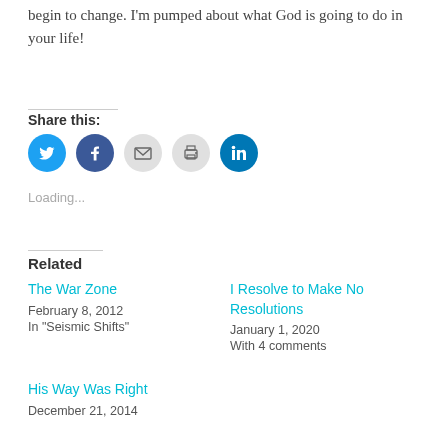begin to change. I'm pumped about what God is going to do in your life!
Share this:
[Figure (other): Social share buttons: Twitter (blue), Facebook (dark blue), Email (gray), Print (gray), LinkedIn (blue)]
Loading...
Related
The War Zone
February 8, 2012
In "Seismic Shifts"
I Resolve to Make No Resolutions
January 1, 2020
With 4 comments
His Way Was Right
December 21, 2014